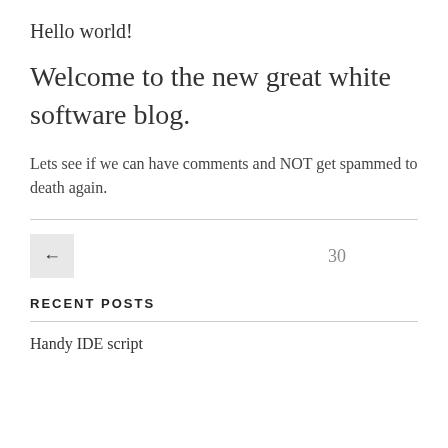Hello world!
Welcome to the new great white software blog.
Lets see if we can have comments and NOT get spammed to death again.
← 30
RECENT POSTS
Handy IDE script